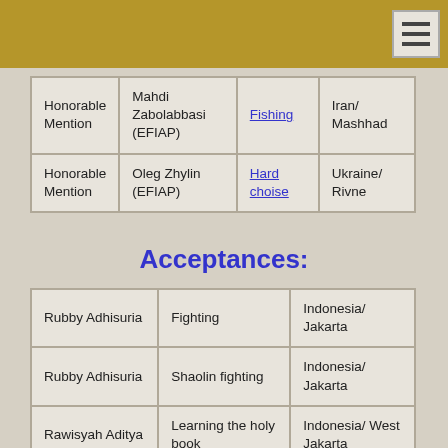| Award | Name | Work | Location |
| --- | --- | --- | --- |
| Honorable Mention | Mahdi Zabolabbasi (EFIAP) | Fishing | Iran/ Mashhad |
| Honorable Mention | Oleg Zhylin (EFIAP) | Hard choise | Ukraine/ Rivne |
Acceptances:
| Name | Work | Location |
| --- | --- | --- |
| Rubby Adhisuria | Fighting | Indonesia/ Jakarta |
| Rubby Adhisuria | Shaolin fighting | Indonesia/ Jakarta |
| Rawisyah Aditya | Learning the holy book | Indonesia/ West Jakarta |
| Rawisyah Aditya | Scholar 03 | Indonesia/ West Jakarta |